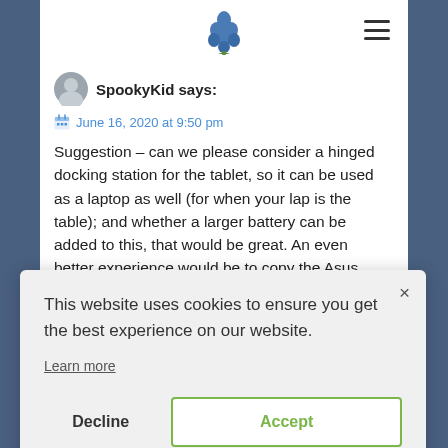SpookyKid says:
June 16, 2020 at 9:50 pm
Suggestion – can we please consider a hinged docking station for the tablet, so it can be used as a laptop as well (for when your lap is the table); and whether a larger battery can be added to this, that would be great. An even better experience would be to copy the Asus
This website uses cookies to ensure you get the best experience on our website.
Learn more
Decline
Accept